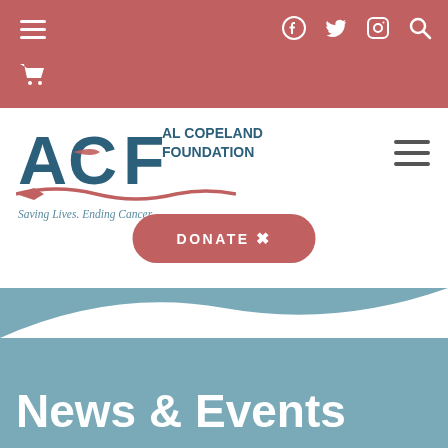Navigation bar with hamburger menu, cart icon, Facebook, Twitter, Instagram, Search icons
[Figure (logo): ACF Al Copeland Foundation logo with text 'Saving Lives. Ending Cancer.' and red ribbon accent]
DONATE
News & Events